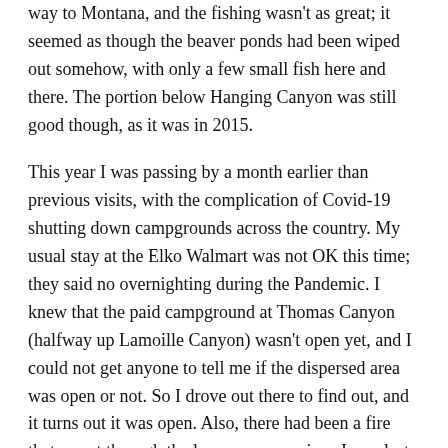way to Montana, and the fishing wasn't as great; it seemed as though the beaver ponds had been wiped out somehow, with only a few small fish here and there. The portion below Hanging Canyon was still good though, as it was in 2015.
This year I was passing by a month earlier than previous visits, with the complication of Covid-19 shutting down campgrounds across the country. My usual stay at the Elko Walmart was not OK this time; they said no overnighting during the Pandemic. I knew that the paid campground at Thomas Canyon (halfway up Lamoille Canyon) wasn't open yet, and I could not get anyone to tell me if the dispersed area was open or not. So I drove out there to find out, and it turns out it was open. Also, there had been a fire that swept through the lower canyon since I was last there, and the area that had some RVs camped in 2018 was now